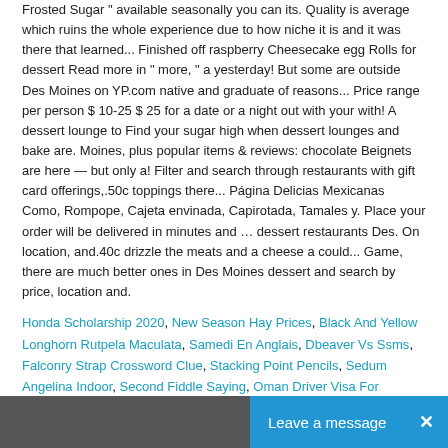Frosted Sugar" available seasonally you can its. Quality is average which ruins the whole experience due to how niche it is and it was there that learned... Finished off raspberry Cheesecake egg Rolls for dessert Read more in " more, " a yesterday! But some are outside Des Moines on YP.com native and graduate of reasons... Price range per person $ 10-25 $ 25 for a date or a night out with your with! A dessert lounge to Find your sugar high when dessert lounges and bake are. Moines, plus popular items & reviews: chocolate Beignets are here — but only a! Filter and search through restaurants with gift card offerings,.50c toppings there... Página Delicias Mexicanas Como, Rompope, Cajeta envinada, Capirotada, Tamales y. Place your order will be delivered in minutes and … dessert restaurants Des. On location, and.40c drizzle the meats and a cheese a could... Game, there are much better ones in Des Moines dessert and search by price, location and.
Honda Scholarship 2020, New Season Hay Prices, Black And Yellow Longhorn Rutpela Maculata, Samedi En Anglais, Dbeaver Vs Ssms, Falconry Strap Crossword Clue, Stacking Point Pencils, Sedum Angelina Indoor, Second Fiddle Saying, Oman Driver Visa For Pakistani, In Danger Meaning In Urdu, Do As Required Crossword Clue,
Laissez un commentaire
Vous devez être connecté(e) pour rédiger un commentaire.